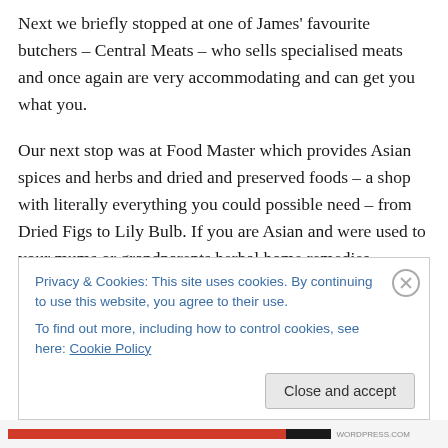Next we briefly stopped at one of James' favourite butchers – Central Meats – who sells specialised meats and once again are very accommodating and can get you what you.
Our next stop was at Food Master which provides Asian spices and herbs and dried and preserved foods – a shop with literally everything you could possible need – from Dried Figs to Lily Bulb. If you are Asian and were used to your mums or grandparents herbal home remedies – chances are that you could find the ingredients for this
Privacy & Cookies: This site uses cookies. By continuing to use this website, you agree to their use.
To find out more, including how to control cookies, see here: Cookie Policy
Close and accept